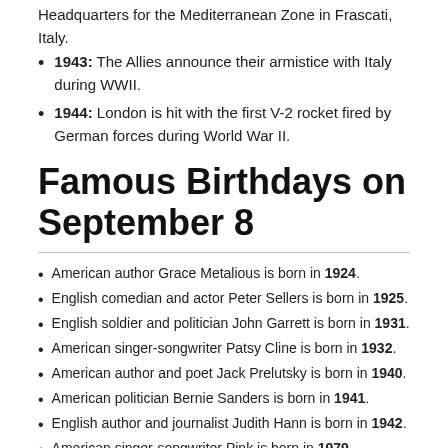Headquarters for the Mediterranean Zone in Frascati, Italy.
1943: The Allies announce their armistice with Italy during WWII.
1944: London is hit with the first V-2 rocket fired by German forces during World War II.
Famous Birthdays on September 8
American author Grace Metalious is born in 1924.
English comedian and actor Peter Sellers is born in 1925.
English soldier and politician John Garrett is born in 1931.
American singer-songwriter Patsy Cline is born in 1932.
American author and poet Jack Prelutsky is born in 1940.
American politician Bernie Sanders is born in 1941.
English author and journalist Judith Hann is born in 1942.
American singer-songwriter Pink is born in 1979.
English journalist Kate Abdo is born in 1981.
Famous ...